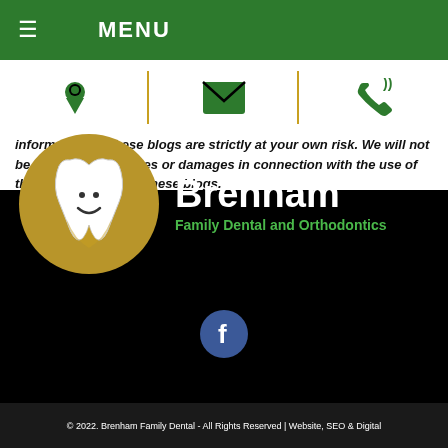≡ MENU
[Figure (infographic): Navigation icon bar with location pin, envelope/email, and phone icons separated by gold vertical dividers]
information on these blogs are strictly at your own risk. We will not be liable for any losses or damages in connection with the use of the information from these blogs.
[Figure (logo): Brenham Family Dental and Orthodontics logo: gold circle with smiling tooth mascot, white text 'Brenham' and green text 'Family Dental and Orthodontics' on black background]
[Figure (infographic): Facebook icon - blue circle with white f letter]
© 2022. Brenham Family Dental - All Rights Reserved | Website, SEO & Digital